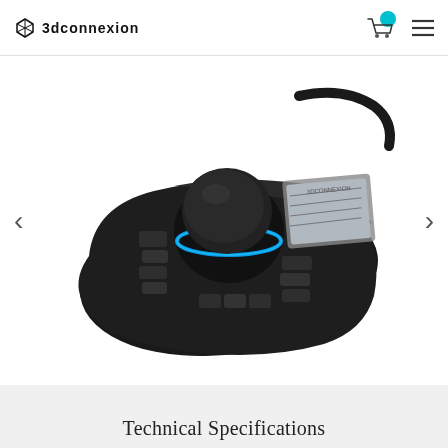3DCONNEXION
[Figure (photo): 3Dconnexion SpaceMouse Enterprise – a black ergonomic 3D input device with a large central cap sensor knob glowing blue, multiple programmable function keys, an LCD display panel on the right side, and a USB cable at the top. The device has an asymmetric curved body designed for left-hand use.]
Technical Specifications